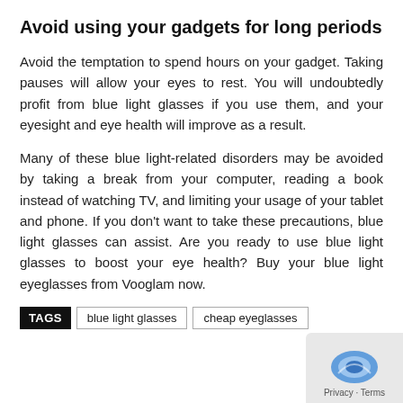Avoid using your gadgets for long periods
Avoid the temptation to spend hours on your gadget. Taking pauses will allow your eyes to rest. You will undoubtedly profit from blue light glasses if you use them, and your eyesight and eye health will improve as a result.
Many of these blue light-related disorders may be avoided by taking a break from your computer, reading a book instead of watching TV, and limiting your usage of your tablet and phone. If you don't want to take these precautions, blue light glasses can assist. Are you ready to use blue light glasses to boost your eye health? Buy your blue light eyeglasses from Vooglam now.
TAGS   blue light glasses   cheap eyeglasses